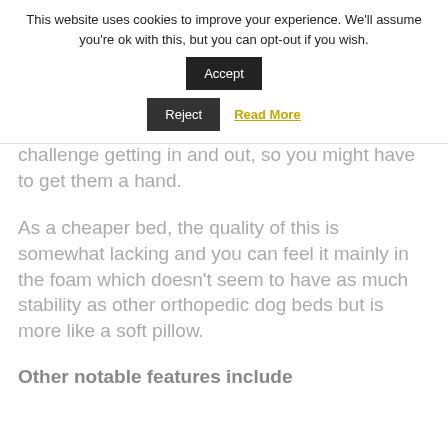This website uses cookies to improve your experience. We'll assume you're ok with this, but you can opt-out if you wish.
Accept | Reject | Read More
challenge getting in and out, so you might have to get them a hand.
As a cheaper bed, the quality of this is somewhat lacking and you can feel it mainly in the foam which doesn't seem to have as much stability as other orthopedic dog beds but is more like a soft pillow.
Other notable features include